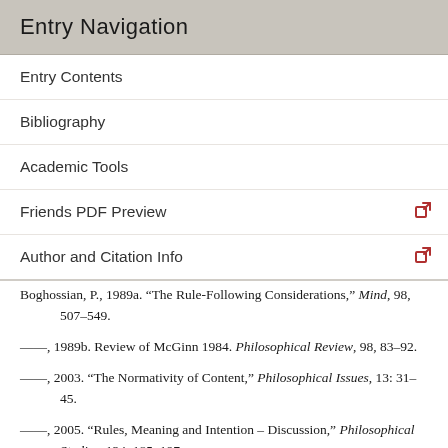Entry Navigation
Entry Contents
Bibliography
Academic Tools
Friends PDF Preview
Author and Citation Info
Boghossian, P., 1989a. “The Rule-Following Considerations,” Mind, 98, 507–549.
——, 1989b. Review of McGinn 1984. Philosophical Review, 98, 83–92.
——, 2003. “The Normativity of Content,” Philosophical Issues, 13: 31–45.
——, 2005. “Rules, Meaning and Intention – Discussion,” Philosophical Studies, 124, 185–197.
——, 2008. “Epistemic Rules,” Journal of Philosophy,